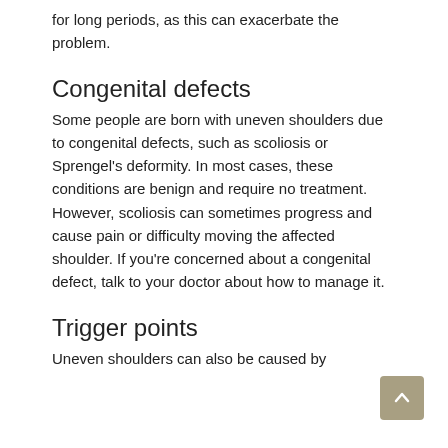for long periods, as this can exacerbate the problem.
Congenital defects
Some people are born with uneven shoulders due to congenital defects, such as scoliosis or Sprengel's deformity. In most cases, these conditions are benign and require no treatment. However, scoliosis can sometimes progress and cause pain or difficulty moving the affected shoulder. If you're concerned about a congenital defect, talk to your doctor about how to manage it.
Trigger points
Uneven shoulders can also be caused by